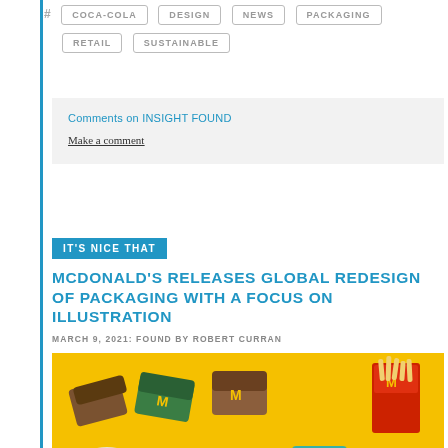# COCA-COLA  DESIGN  NEWS  PACKAGING  RETAIL  SUSTAINABLE
Comments on INSIGHT FOUND
Make a comment
IT'S NICE THAT
MCDONALD'S RELEASES GLOBAL REDESIGN OF PACKAGING WITH A FOCUS ON ILLUSTRATION
MARCH 9, 2021: FOUND BY ROBERT CURRAN
[Figure (photo): McDonald's packaging redesign photo showing various colorful McDonald's packaging items arranged on a yellow background, including burger boxes with green and brown colors, a red french fry carton with the M logo, and other packaging items.]